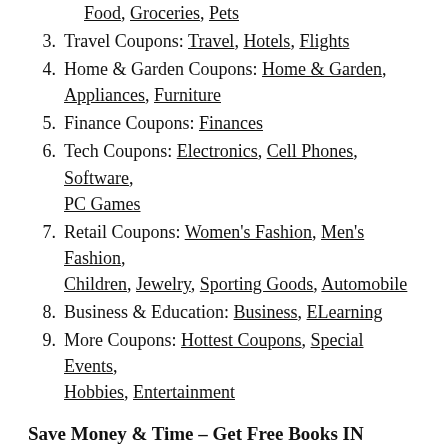Food, Groceries, Pets
3. Travel Coupons: Travel, Hotels, Flights
4. Home & Garden Coupons: Home & Garden, Appliances, Furniture
5. Finance Coupons: Finances
6. Tech Coupons: Electronics, Cell Phones, Software, PC Games
7. Retail Coupons: Women's Fashion, Men's Fashion, Children, Jewelry, Sporting Goods, Automobile
8. Business & Education: Business, ELearning
9. More Coupons: Hottest Coupons, Special Events, Hobbies, Entertainment
Save Money & Time – Get Free Books IN YOUR FAVORITE GENRE!
1. Romance: NY Times Bestselling Authors Romance, Fantasy Romance, Contemporary Romance, Paranormal Romance, Historical